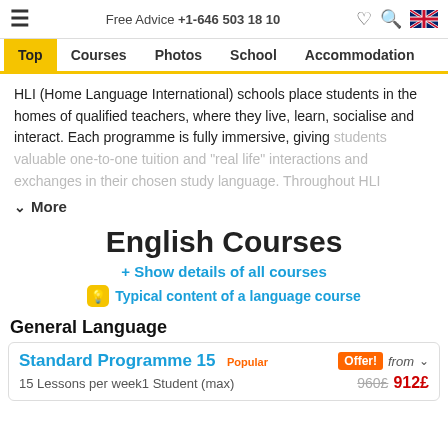Free Advice +1-646 503 18 10
Top Courses Photos School Accommodation
HLI (Home Language International) schools place students in the homes of qualified teachers, where they live, learn, socialise and interact. Each programme is fully immersive, giving students valuable one-to-one tuition and "real life" interactions and exchanges in their chosen study language. Throughout HLI
More
English Courses
+ Show details of all courses
Typical content of a language course
General Language
Standard Programme 15  Popular  Offer!  from
15 Lessons per week1 Student (max)  960£ 912£